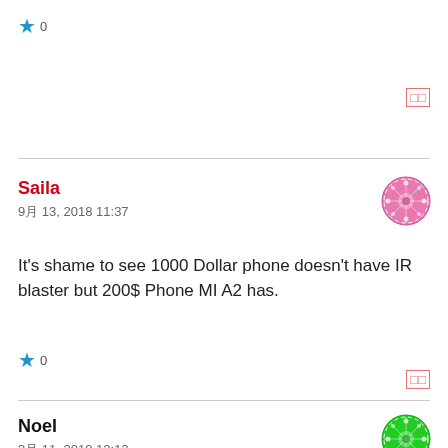★ 0
□□
Saila
9月 13, 2018 11:37
It's shame to see 1000 Dollar phone doesn't have IR blaster but 200$ Phone MI A2 has.
★ 0
□□
Noel
3月 11, 2019 12:12